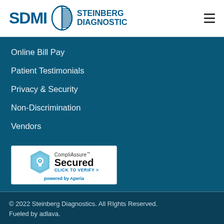[Figure (logo): SDMI Steinberg Diagnostic logo with circular icon and text]
Online Bill Pay
Patient Testimonials
Privacy & Security
Non-Discrimination
Vendors
[Figure (logo): CompliAssure Secured badge - Click to Verify - powered by Aperia]
© 2022 Steinberg Diagnostics. All RIghts Reserved. Fueled by adlava.